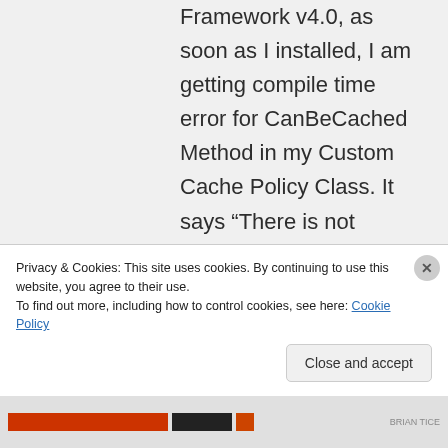Framework v4.0, as soon as I installed, I am getting compile time error for CanBeCached Method in my Custom Cache Policy Class. It says “There is not suitable method to override”. Any clue on what am
Privacy & Cookies: This site uses cookies. By continuing to use this website, you agree to their use.
To find out more, including how to control cookies, see here: Cookie Policy
Close and accept